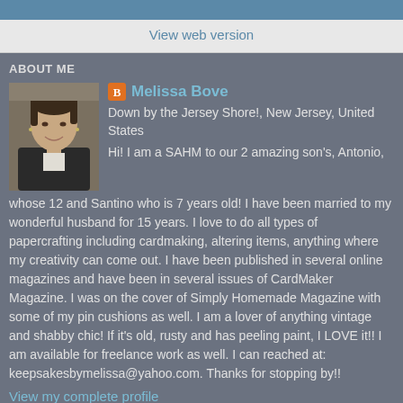View web version
ABOUT ME
[Figure (photo): Profile photo of Melissa Bove, a woman with dark hair smiling, wearing a dark jacket]
Melissa Bove
Down by the Jersey Shore!, New Jersey, United States
Hi! I am a SAHM to our 2 amazing son's, Antonio, whose 12 and Santino who is 7 years old! I have been married to my wonderful husband for 15 years. I love to do all types of papercrafting including cardmaking, altering items, anything where my creativity can come out. I have been published in several online magazines and have been in several issues of CardMaker Magazine. I was on the cover of Simply Homemade Magazine with some of my pin cushions as well. I am a lover of anything vintage and shabby chic! If it's old, rusty and has peeling paint, I LOVE it!! I am available for freelance work as well. I can reached at: keepsakesbymelissa@yahoo.com. Thanks for stopping by!!
View my complete profile
Powered by Blogger.